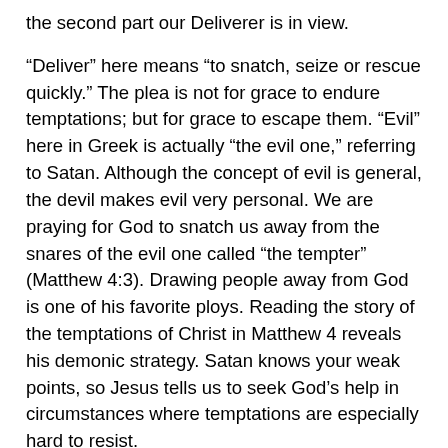the second part our Deliverer is in view.
“Deliver” here means “to snatch, seize or rescue quickly.” The plea is not for grace to endure temptations; but for grace to escape them. “Evil” here in Greek is actually “the evil one,” referring to Satan. Although the concept of evil is general, the devil makes evil very personal. We are praying for God to snatch us away from the snares of the evil one called “the tempter” (Matthew 4:3). Drawing people away from God is one of his favorite ploys. Reading the story of the temptations of Christ in Matthew 4 reveals his demonic strategy. Satan knows your weak points, so Jesus tells us to seek God’s help in circumstances where temptations are especially hard to resist.
But in a larger sense, evil here refers to the sum total of all moral wickedness. It includes all the shame, guilt and estrangement which damages one’s relationship with the Father. We pray for deliverance because the evil of sin results in heartache, pain, grief and separation from God. We pray to be saved from the Full Stop and all that relates to deliverance.